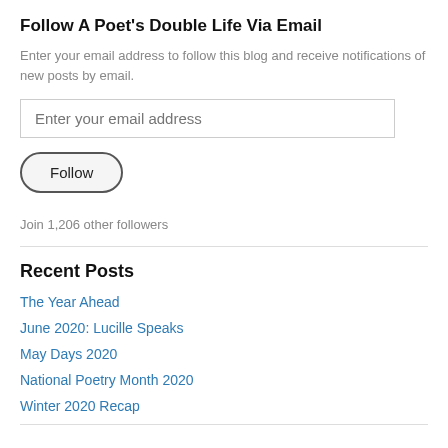Follow A Poet's Double Life Via Email
Enter your email address to follow this blog and receive notifications of new posts by email.
Enter your email address
Follow
Join 1,206 other followers
Recent Posts
The Year Ahead
June 2020: Lucille Speaks
May Days 2020
National Poetry Month 2020
Winter 2020 Recap